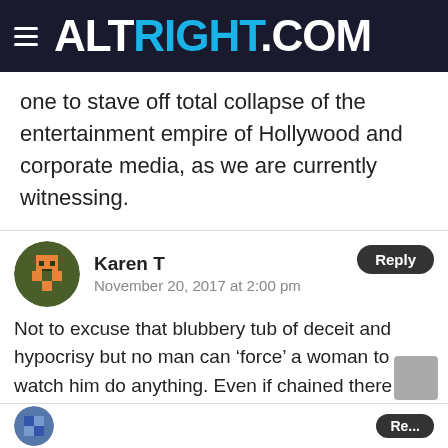ALTRIGHT.COM
one to stave off total collapse of the entertainment empire of Hollywood and corporate media, as we are currently witnessing.
Karen T
November 20, 2017 at 2:00 pm
Not to excuse that blubbery tub of deceit and hypocrisy but no man can ‘force’ a woman to watch him do anything. Even if chained there is always the option of closing her eyes and turning her head away. Whining women and infantile men, they deserve each other.